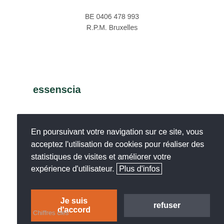BE 0406 478 993
R.P.M. Bruxelles
essenscia
Notre équipe
En poursuivant votre navigation sur ce site, vous acceptez l'utilisation de cookies pour réaliser des statistiques de visites et améliorer votre expérience d'utilisateur. Plus d'infos
Je suis d'accord
refuser
Chiffres clés